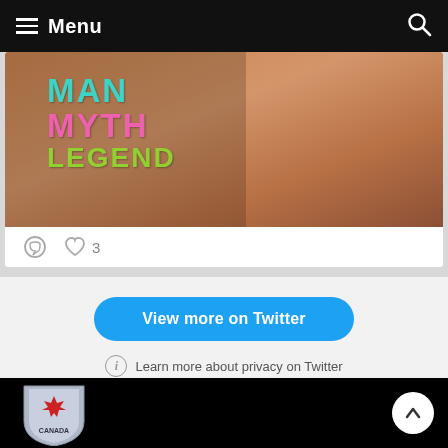Menu
[Figure (screenshot): Twitter embed card showing a hockey player with 'MAN MYTH LEGEND' text overlay. Comment and heart icons with 3 likes shown below the image.]
View more on Twitter
Learn more about privacy on Twitter
[Figure (logo): Partial Canadian sports logo/shield with maple leaf at the bottom of the page]